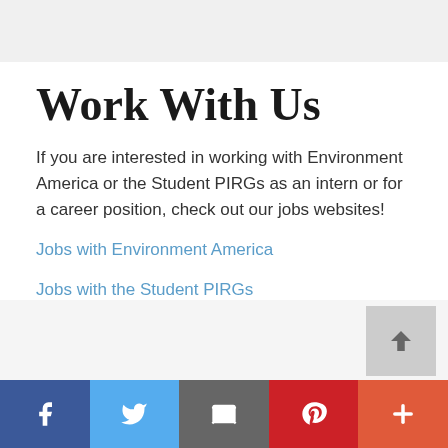Work With Us
If you are interested in working with Environment America or the Student PIRGs as an intern or for a career position, check out our jobs websites!
Jobs with Environment America
Jobs with the Student PIRGs